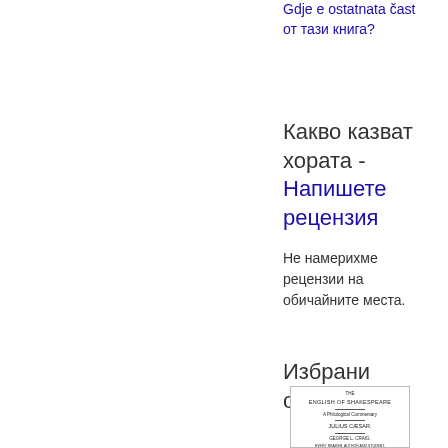Gdje e ostatnata čast ot tazi kniga?
Kakvo kazvat horata - Napishete retsenziya
Ne namerixme retsenzii na obichaĭnite mesta.
Izbrani stranitsi
[Figure (photo): Scanned title page of a book: THE ENGLISH OF SHAKESPEARE, A Philological Commentary, Julius Caesar, by George L. Craig, Every Reader Author and Student, London, Charles Sot Hall and Palamira, 1865]